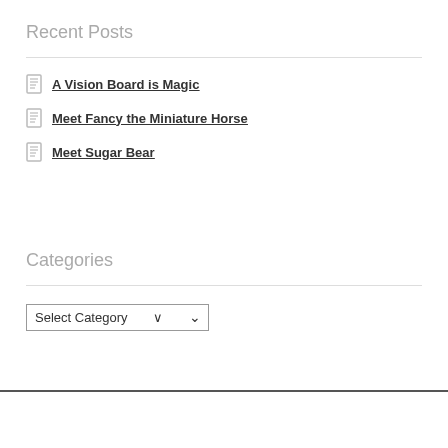Recent Posts
A Vision Board is Magic
Meet Fancy the Miniature Horse
Meet Sugar Bear
Categories
Select Category